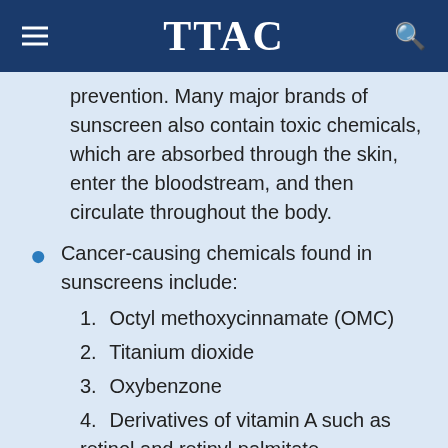TTAC
prevention. Many major brands of sunscreen also contain toxic chemicals, which are absorbed through the skin, enter the bloodstream, and then circulate throughout the body.
Cancer-causing chemicals found in sunscreens include:
1. Octyl methoxycinnamate (OMC)
2. Titanium dioxide
3. Oxybenzone
4. Derivatives of vitamin A such as retinol and retinyl palmitate